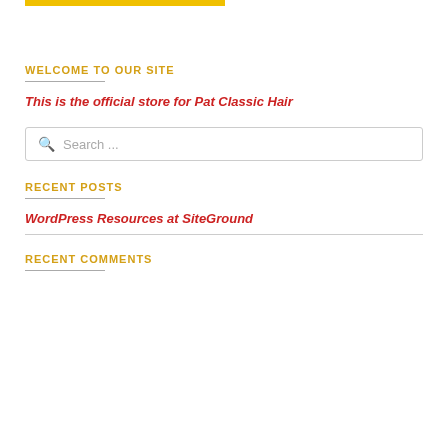[Figure (other): Yellow/gold horizontal bar at top of page]
WELCOME TO OUR SITE
This is the official store for Pat Classic Hair
[Figure (other): Search box with magnifying glass icon and placeholder text 'Search ...']
RECENT POSTS
WordPress Resources at SiteGround
RECENT COMMENTS